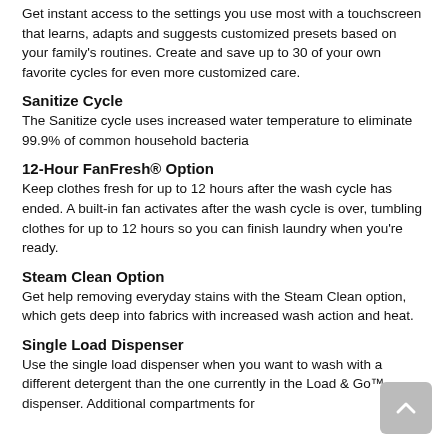Get instant access to the settings you use most with a touchscreen that learns, adapts and suggests customized presets based on your family's routines. Create and save up to 30 of your own favorite cycles for even more customized care.
Sanitize Cycle
The Sanitize cycle uses increased water temperature to eliminate 99.9% of common household bacteria
12-Hour FanFresh® Option
Keep clothes fresh for up to 12 hours after the wash cycle has ended. A built-in fan activates after the wash cycle is over, tumbling clothes for up to 12 hours so you can finish laundry when you're ready.
Steam Clean Option
Get help removing everyday stains with the Steam Clean option, which gets deep into fabrics with increased wash action and heat.
Single Load Dispenser
Use the single load dispenser when you want to wash with a different detergent than the one currently in the Load & Go™ dispenser. Additional compartments for